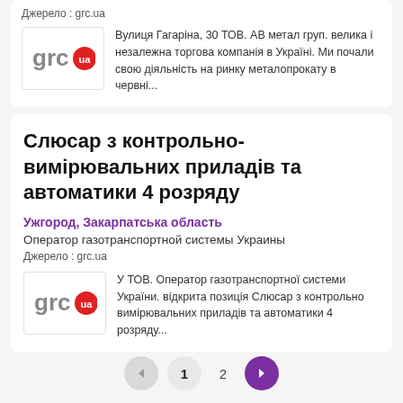Джерело : grc.ua
[Figure (logo): grc.ua logo — grey text 'grc' with red circle containing white 'ua']
Вулиця Гагаріна, 30 ТОВ. АВ метал груп. велика і незалежна торгова компанія в Україні. Ми почали свою діяльність на ринку металопрокату в червні...
Слюсар з контрольно-вимірювальних приладів та автоматики 4 розряду
Ужгород, Закарпатська область
Оператор газотранспортной системы Украины
Джерело : grc.ua
[Figure (logo): grc.ua logo — grey text 'grc' with red circle containing white 'ua']
У ТОВ. Оператор газотранспортної системи України. відкрита позиція Слюсар з контрольно вимірювальних приладів та автоматики 4 розряду...
1  2